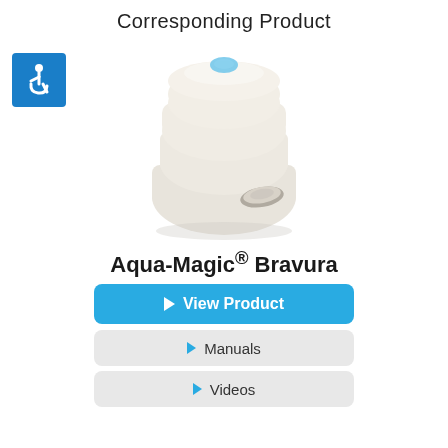Corresponding Product
[Figure (photo): Aqua-Magic Bravura RV toilet product photo, white rounded unit with foot pedal flush mechanism, with a blue accessibility icon badge in the upper left]
Aqua-Magic® Bravura
View Product
Manuals
Videos